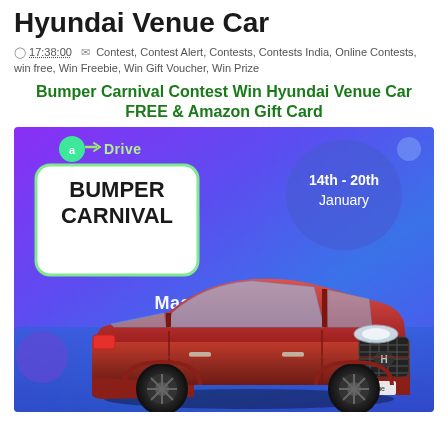Hyundai Venue Car
17:38:00   Contest, Contest Alert, Contests, Contests India, Online Contests, win free, Win Freebie, Win Gift Voucher, Win Prize
Bumper Carnival Contest Win Hyundai Venue Car FREE & Amazon Gift Card
[Figure (photo): Acko Drive Bumper Carnival promotional banner showing a red Hyundai Venue SUV on a purple gradient background. The banner text reads 'BUMPER CARNIVAL' in white on a white rounded rectangle with green border, 'acko Drive' logo in top left, '14th - 20th January' in a blue circle bubble on the right, and 'MaalFreeKaa.in' watermark across the middle.]